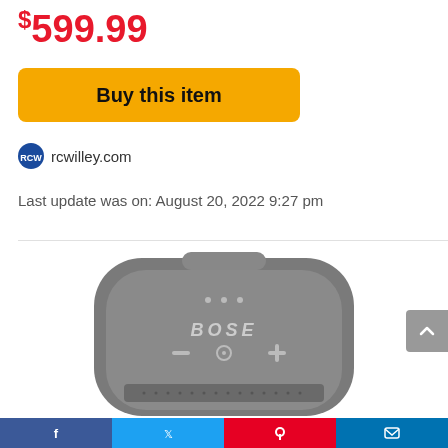$599.99
Buy this item
rcwilley.com
Last update was on: August 20, 2022 9:27 pm
[Figure (photo): Top-down view of a grey Bose SoundLink Micro Bluetooth speaker showing the Bose logo, control buttons and speaker grille]
Social share bar with Facebook, Twitter, Pinterest, and email icons